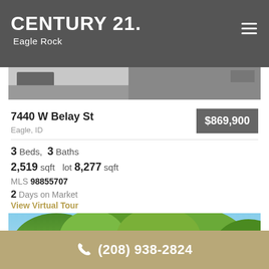CENTURY 21. Eagle Rock
[Figure (photo): Partial view of a property exterior photo, top portion visible]
7440 W Belay St
Eagle, ID
$869,900
3 Beds,  3 Baths
2,519 sqft   lot 8,277 sqft
MLS 98855707
2 Days on Market
View Virtual Tour
[Figure (photo): Property exterior photo showing trees and blue sky]
(208) 938-2824